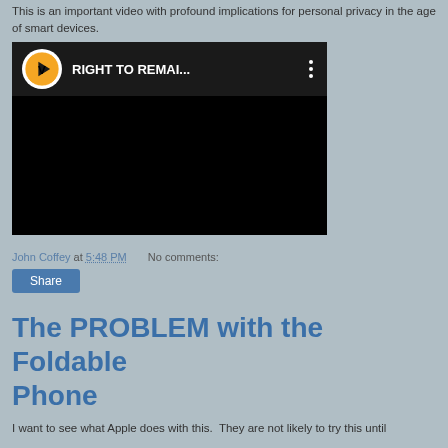This is an important video with profound implications for personal privacy in the age of smart devices.
[Figure (screenshot): Embedded video thumbnail with dark background, showing a YouTube-style video player interface. The top bar shows a circular orange/yellow icon with a V symbol, the title 'RIGHT TO REMAI...' in white bold text, and a vertical three-dot menu icon. The main area is black (video not playing).]
John Coffey at 5:48 PM   No comments:
Share
The PROBLEM with the Foldable Phone
I want to see what Apple does with this.  They are not likely to try this until